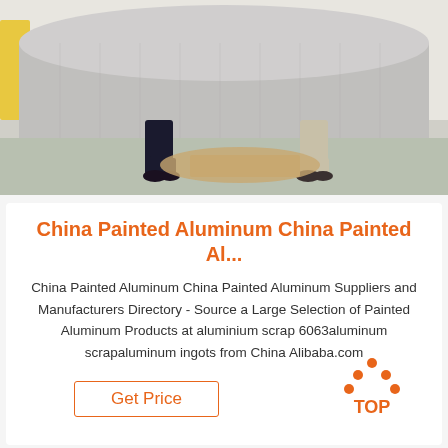[Figure (photo): Two workers in a warehouse holding up a large roll of painted aluminum wrapped in plastic/film, with cardboard on the floor]
China Painted Aluminum China Painted Al...
China Painted Aluminum China Painted Aluminum Suppliers and Manufacturers Directory - Source a Large Selection of Painted Aluminum Products at aluminium scrap 6063aluminum scrapaluminum ingots from China Alibaba.com
Get Price
[Figure (logo): TOP badge with orange dots forming a triangle above the word TOP in orange]
[Figure (photo): Bottom strip showing partial product photos]